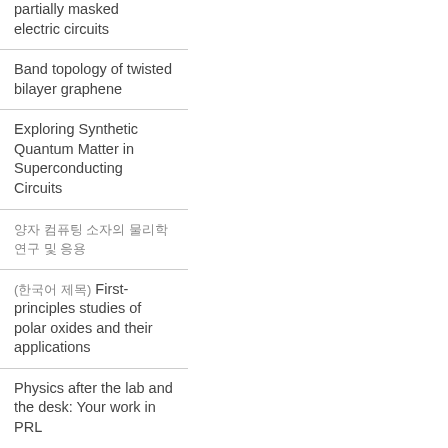partially masked electric circuits
Band topology of twisted bilayer graphene
Exploring Synthetic Quantum Matter in Superconducting Circuits
양자 컴퓨팅 소자의 물리학 연구 및 응용
(한국어 제목) First-principles studies of polar oxides and their applications
Physics after the lab and the desk: Your work in PRL